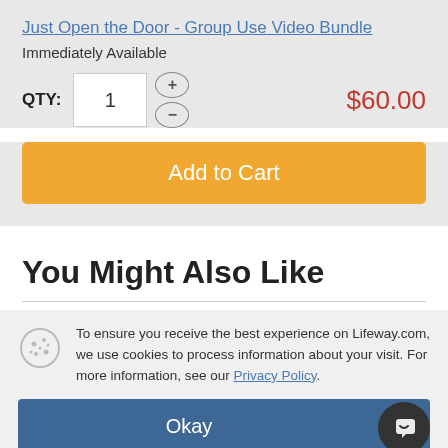Just Open the Door - Group Use Video Bundle
Immediately Available
QTY: 1   $60.00
Add to Cart
You Might Also Like
To ensure you receive the best experience on Lifeway.com, we use cookies to process information about your visit. For more information, see our Privacy Policy.
Okay